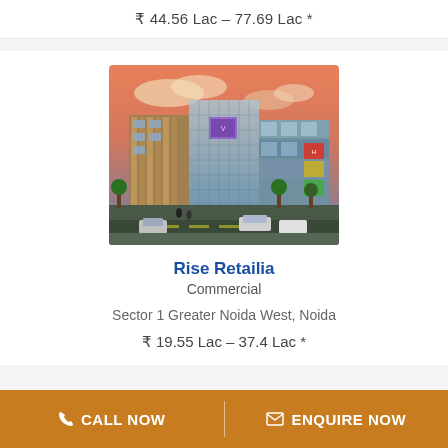₹ 44.56 Lac – 77.69 Lac *
[Figure (photo): Exterior rendering of Rise Retailia commercial complex at dusk with multiple floors, glass facades, retail signage, trees and cars on street]
Rise Retailia
Commercial
Sector 1 Greater Noida West, Noida
₹ 19.55 Lac – 37.4 Lac *
CALL NOW   ENQUIRE NOW